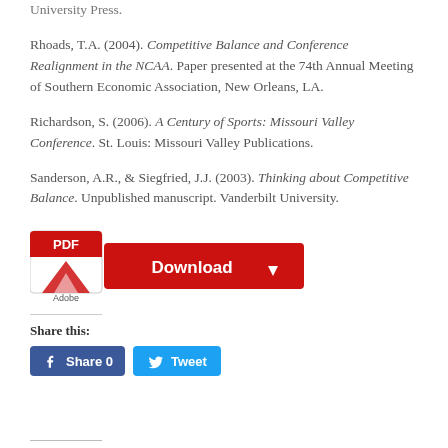University Press.
Rhoads, T.A. (2004). Competitive Balance and Conference Realignment in the NCAA. Paper presented at the 74th Annual Meeting of Southern Economic Association, New Orleans, LA.
Richardson, S. (2006). A Century of Sports: Missouri Valley Conference. St. Louis: Missouri Valley Publications.
Sanderson, A.R., & Siegfried, J.J. (2003). Thinking about Competitive Balance. Unpublished manuscript. Vanderbilt University.
[Figure (other): PDF Adobe Download button graphic with red Adobe PDF icon and red Download button with white text and download arrow]
Share this:
Share 0   Tweet